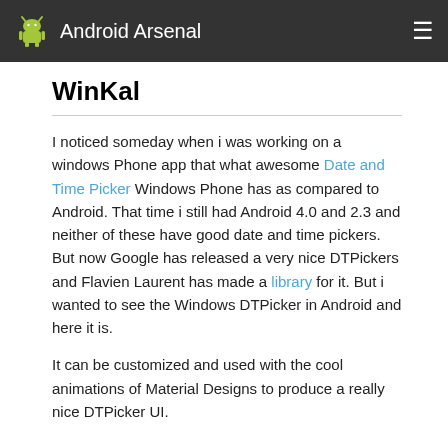Android Arsenal
WinKal
I noticed someday when i was working on a windows Phone app that what awesome Date and Time Picker Windows Phone has as compared to Android. That time i still had Android 4.0 and 2.3 and neither of these have good date and time pickers. But now Google has released a very nice DTPickers and Flavien Laurent has made a library for it. But i wanted to see the Windows DTPicker in Android and here it is.
It can be customized and used with the cool animations of Material Designs to produce a really nice DTPicker UI.
Demo